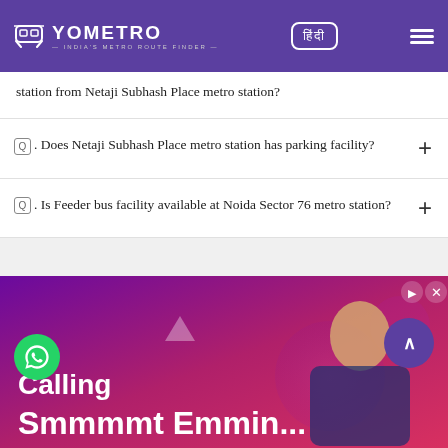YOMETRO — India's Metro Route Finder
station from Netaji Subhash Place metro station?
Q. Does Netaji Subhash Place metro station has parking facility?
Q. Is Feeder bus facility available at Noida Sector 76 metro station?
[Figure (photo): Advertisement banner with pink/purple gradient background, text 'Calling' and partial text below, man thinking pose on right side. WhatsApp icon bottom-left, scroll-to-top button bottom-right.]